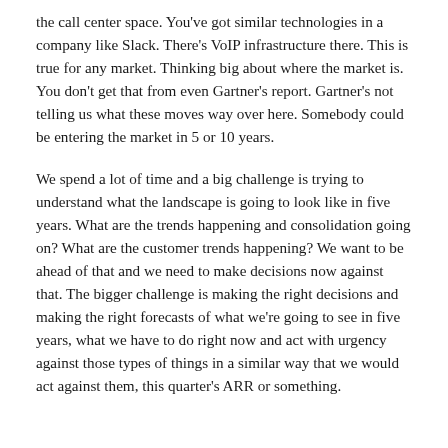the call center space. You've got similar technologies in a company like Slack. There's VoIP infrastructure there. This is true for any market. Thinking big about where the market is. You don't get that from even Gartner's report. Gartner's not telling us what these moves way over here. Somebody could be entering the market in 5 or 10 years.
We spend a lot of time and a big challenge is trying to understand what the landscape is going to look like in five years. What are the trends happening and consolidation going on? What are the customer trends happening? We want to be ahead of that and we need to make decisions now against that. The bigger challenge is making the right decisions and making the right forecasts of what we're going to see in five years, what we have to do right now and act with urgency against those types of things in a similar way that we would act against them, this quarter's ARR or something.